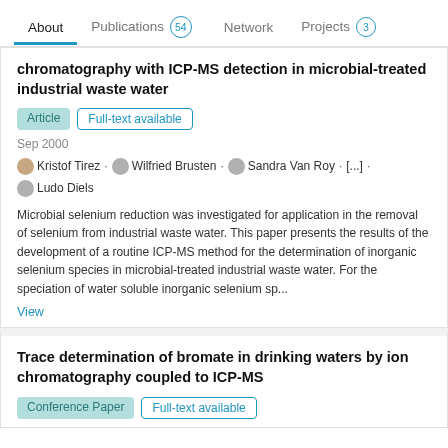About  Publications 54  Network  Projects 3
chromatography with ICP-MS detection in microbial-treated industrial waste water
Article
Full-text available
Sep 2000
Kristof Tirez · Wilfried Brusten · Sandra Van Roy · [...] · Ludo Diels
Microbial selenium reduction was investigated for application in the removal of selenium from industrial waste water. This paper presents the results of the development of a routine ICP-MS method for the determination of inorganic selenium species in microbial-treated industrial waste water. For the speciation of water soluble inorganic selenium sp...
View
Trace determination of bromate in drinking waters by ion chromatography coupled to ICP-MS
Conference Paper
Full-text available